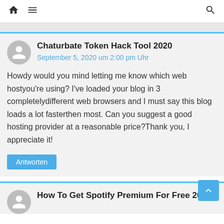Home menu search
Chaturbate Token Hack Tool 2020
September 5, 2020 um 2:00 pm Uhr
Howdy would you mind letting me know which web hostyou're using? I've loaded your blog in 3 completelydifferent web browsers and I must say this blog loads a lot fasterthen most. Can you suggest a good hosting provider at a reasonable price?Thank you, I appreciate it!
Antworten
How To Get Spotify Premium For Free 2020